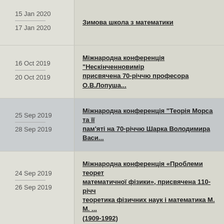| Date | Event |
| --- | --- |
| 15 Jan 2020 / 17 Jan 2020 | Зимова школа з математики |
| 16 Oct 2019 / 20 Oct 2019 | Міжнародна конференція "Нескінченновимір... присвячена 70-річчю професора О.В.Лопуша... |
| 25 Sep 2019 / 28 Sep 2019 | Міжнародна конференція "Теорія Морса та її... пам'яті на 70-річчю Шарка Володимира Васи... |
| 24 Sep 2019 / 26 Sep 2019 | Міжнародна конференція «Проблеми теорет... математичної фізики», присвячена 110-річч... теоретика фізичних наук і математика М. М. ... (1909-1992) |
| 02 Jul 2019 / 06 Jul 2019 | XII Міжнародна алгебраїчна конференція, пр... дня народження В. Буняковського |